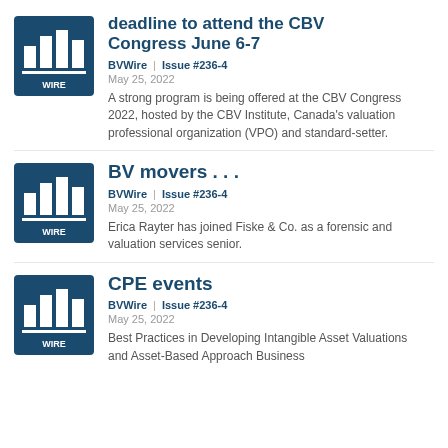[Figure (logo): BVWire logo — dark blue square with white bar chart icon and WIRE text]
deadline to attend the CBV Congress June 6-7
BVWire | Issue #236-4
May 25, 2022
A strong program is being offered at the CBV Congress 2022, hosted by the CBV Institute, Canada's valuation professional organization (VPO) and standard-setter.
[Figure (logo): BVWire logo — dark blue square with white bar chart icon and WIRE text]
BV movers . . .
BVWire | Issue #236-4
May 25, 2022
Erica Rayter has joined Fiske & Co. as a forensic and valuation services senior.
[Figure (logo): BVWire logo — dark blue square with white bar chart icon and WIRE text]
CPE events
BVWire | Issue #236-4
May 25, 2022
Best Practices in Developing Intangible Asset Valuations and Asset-Based Approach Business